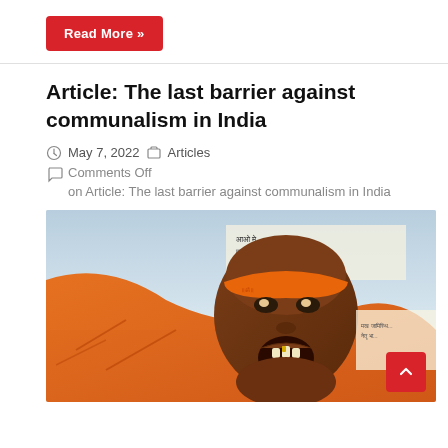Read More »
Article: The last barrier against communalism in India
May 7, 2022   Articles
Comments Off on Article: The last barrier against communalism in India
[Figure (photo): Person wearing an orange bandana, shouting, holding an orange flag with text in Hindi, at a protest or rally in India]